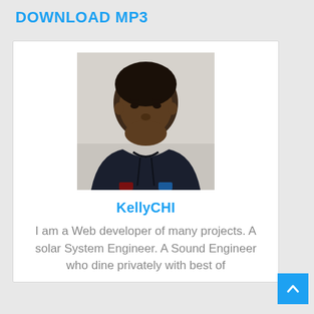DOWNLOAD MP3
[Figure (photo): Profile photo of a young man wearing a dark hoodie, looking at the camera, against a light background.]
KellyCHI
I am a Web developer of many projects. A solar System Engineer. A Sound Engineer who dine privately with best of